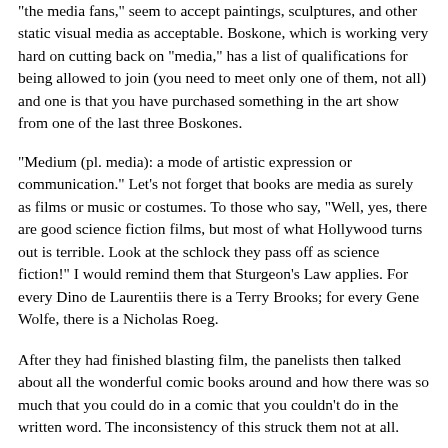"the media fans," seem to accept paintings, sculptures, and other static visual media as acceptable. Boskone, which is working very hard on cutting back on "media," has a list of qualifications for being allowed to join (you need to meet only one of them, not all) and one is that you have purchased something in the art show from one of the last three Boskones.
"Medium (pl. media): a mode of artistic expression or communication." Let's not forget that books are media as surely as films or music or costumes. To those who say, "Well, yes, there are good science fiction films, but most of what Hollywood turns out is terrible. Look at the schlock they pass off as science fiction!" I would remind them that Sturgeon's Law applies. For every Dino de Laurentiis there is a Terry Brooks; for every Gene Wolfe, there is a Nicholas Roeg.
After they had finished blasting film, the panelists then talked about all the wonderful comic books around and how there was so much that you could do in a comic that you couldn't do in the written word. The inconsistency of this struck them not at all.
Miscellaneous
The Boston Ro...